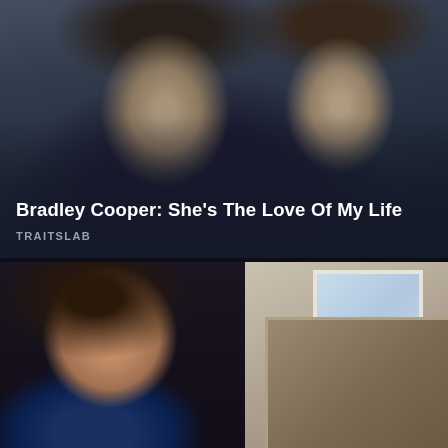[Figure (photo): Photo of two celebrities posing together — a man with dark wavy hair and beard on the left, and a woman with long dark hair on the right, against a dark background]
Bradley Cooper: She's The Love Of My Life
TRAITSLAB
[Figure (photo): Photo of a woman with long dark hair holding a large bouquet of blue roses, standing in a room with a window and headboard visible in the background]